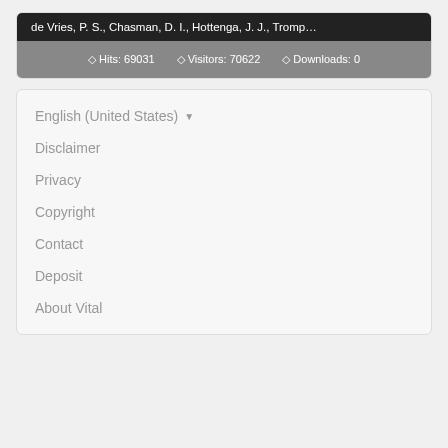de Vries, P. S., Chasman, D. I., Hottenga, J. J., Tromp…
Hits: 69031   Visitors: 70622   Downloads: 0
English (United States) ▾
Disclaimer
Privacy
Copyright
Contact
Deposit
About Vital